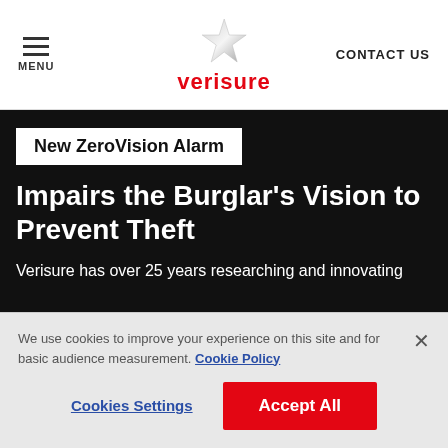MENU | verisure | CONTACT US
New ZeroVision Alarm
Impairs the Burglar's Vision to Prevent Theft
Verisure has over 25 years researching and innovating to…
We use cookies to improve your experience on this site and for basic audience measurement. Cookie Policy
Cookies Settings
Accept All